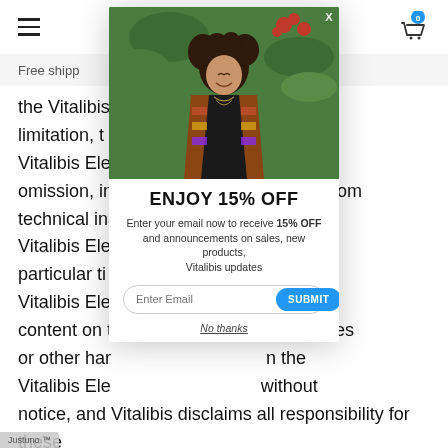≡   [cart icon] 0
Free shipp
the Vitalibis  ut limitation, t the Vitalibis Ele or, omission, in on, or from technical ina at the Vitalibis Ele ny particular ti n the Vitalibis Ele that the content on t e of viruses or other har n the Vitalibis Ele without notice, and Vitalibis disclaims all responsibility for these
[Figure (photo): Modal popup overlay on an e-commerce website showing a woman with curly hair smiling outdoors with flowers and greenery in background, with a promotional offer for 15% OFF]
ENJOY 15% OFF
Enter your email now to receive 15% OFF and announcements on sales, new products, Vitalibis updates
No thanks